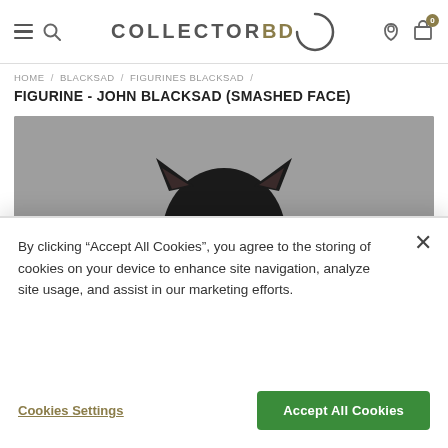COLLECTOR BD — navigation bar with hamburger, search, logo, user icon, cart (0)
HOME / BLACKSAD / FIGURINES BLACKSAD /
FIGURINE - JOHN BLACKSAD (SMASHED FACE)
[Figure (photo): Product photo of John Blacksad figurine — anthropomorphic black cat with yellow-green eyes wearing a grey shirt, viewed from chest up. Gray background.]
By clicking "Accept All Cookies", you agree to the storing of cookies on your device to enhance site navigation, analyze site usage, and assist in our marketing efforts.
Cookies Settings
Accept All Cookies